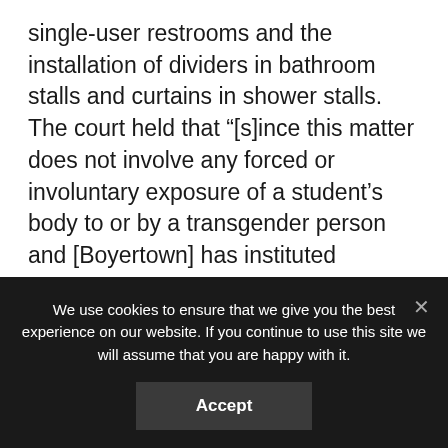single-user restrooms and the installation of dividers in bathroom stalls and curtains in shower stalls. The court held that “[s]ince this matter does not involve any forced or involuntary exposure of a student’s body to or by a transgender person and [Boyertown] has instituted numerous privacy protections and available alternatives for uncomfortable students or to protect against the involuntary exposure of a student’s partially clothed or unclothed body, the plaintiffs have not shown that [Boyertown has] infringed upon their constitutional privacy rights.” Further, noting that several court decisions have concluded that
We use cookies to ensure that we give you the best experience on our website. If you continue to use this site we will assume that you are happy with it.
Accept